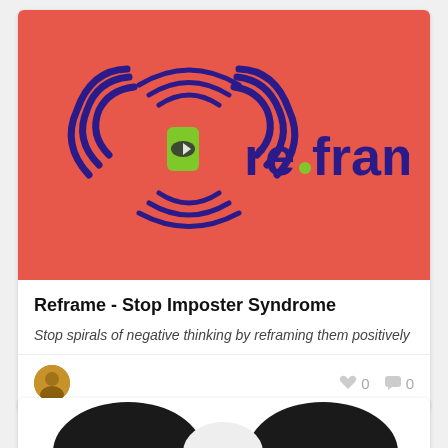[Figure (logo): re.frame app logo on coral/red background. Purple spiral/wave icon with green eye element on the left, and 'reframe' text in purple on the right with a green dot between 're' and 'frame'.]
Reframe - Stop Imposter Syndrome
Stop spirals of negative thinking by reframing them positively
[Figure (photo): Partial view of a second card at the bottom showing a black and white image, partially cropped.]